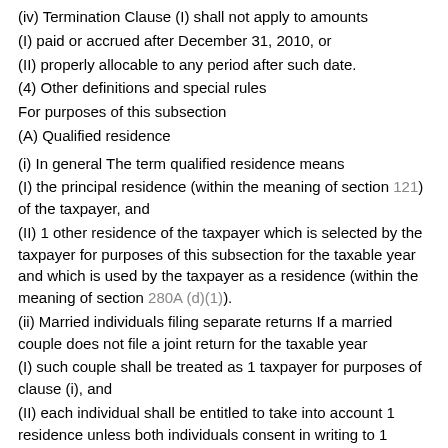(iv) Termination Clause (I) shall not apply to amounts
(I) paid or accrued after December 31, 2010, or
(II) properly allocable to any period after such date.
(4) Other definitions and special rules
For purposes of this subsection
(A) Qualified residence
(i) In general The term qualified residence means
(I) the principal residence (within the meaning of section 121) of the taxpayer, and
(II) 1 other residence of the taxpayer which is selected by the taxpayer for purposes of this subsection for the taxable year and which is used by the taxpayer as a residence (within the meaning of section 280A (d)(1)).
(ii) Married individuals filing separate returns If a married couple does not file a joint return for the taxable year
(I) such couple shall be treated as 1 taxpayer for purposes of clause (i), and
(II) each individual shall be entitled to take into account 1 residence unless both individuals consent in writing to 1 individual taking into account the principal residence and 1 other residence.
(iii) Residence not rented For purposes of clause (i)(II), notwithstanding section 280A (d)(1), if the taxpayer does not rent a dwelling unit at